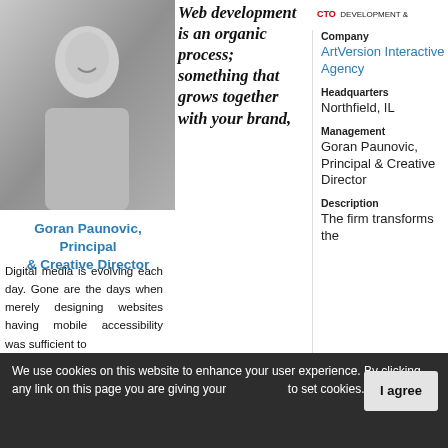CTO DEVELOPMENT & Review SOLUTION PRO
[Figure (photo): Black and white photo of a smiling man in a button-up shirt]
Web development is an organic process; something that grows together with your brand,
Goran Paunovic, Principal & Creative Director
Digital media is evolving each day. Gone are the days when merely designing websites having mobile accessibility was sufficient to
| Company | ArtVersion Interactive Agency |
| Headquarters | Northfield, IL |
| Management | Goran Paunovic, Principal & Creative Director |
| Description | The firm transforms the |
We use cookies on this website to enhance your user experience. By clicking any link on this page you are giving your [consent] to set cookies. More info